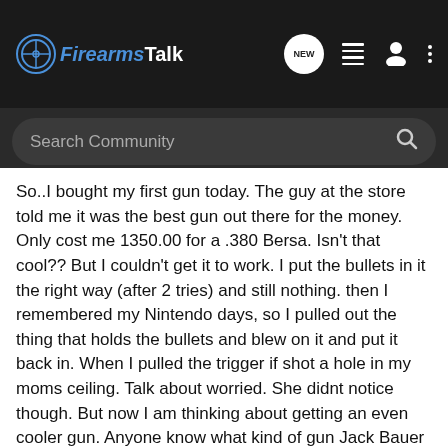FirearmsTalk — Navigation bar with logo, NEW button, list icon, user icon, dots icon
[Figure (screenshot): FirearmsTalk forum website header bar with logo on left and navigation icons on right including a NEW chat bubble, list icon, user icon, and vertical dots menu]
Search Community
So..I bought my first gun today. The guy at the store told me it was the best gun out there for the money. Only cost me 1350.00 for a .380 Bersa. Isn't that cool?? But I couldn't get it to work. I put the bullets in it the right way (after 2 tries) and still nothing. then I remembered my Nintendo days, so I pulled out the thing that holds the bullets and blew on it and put it back in. When I pulled the trigger if shot a hole in my moms ceiling. Talk about worried. She didnt notice though. But now I am thinking about getting an even cooler gun. Anyone know what kind of gun Jack Bauer uses??
Just kidding. Wonder how many eyebrows shot up on that one? Cause you all now someone out there is THAT stupid.
As for the re...